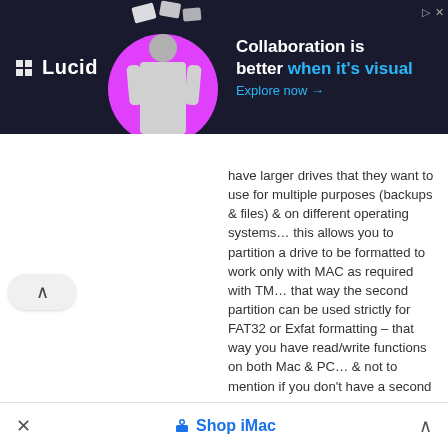[Figure (screenshot): Lucid advertisement banner with dark background, magenta circle graphic, person illustration, and text 'Collaboration is better when it's visual' with 'Explore now' CTA]
have larger drives that they want to use for multiple purposes (backups & files) & on different operating systems… this allows you to partition a drive to be formatted to work only with MAC as required with TM… that way the second partition can be used strictly for FAT32 or Exfat formatting – that way you have read/write functions on both Mac & PC… & not to mention if you don't have a second partition then TM will use the entire space for backups which doesn't allow room for personal files (over time) so this partitioning has different benefits for each user… For me, i have two partitions, one strictly for Time Machine & a second strictly for my important files that is formatted to Exfat (or NTFS in easy terms) so that i can use the drive on my windows PC & Mac plus have the ability to read/write my files on both machines with no restrictions… so if you have no partitions then you're space will be gone before you know it & you wouldn't be able to use the drive on other PC… etc!
× Shop iMac ^